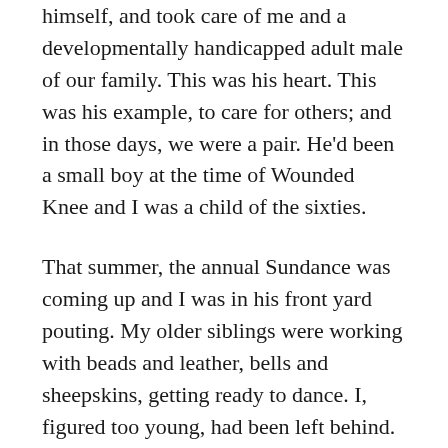himself, and took care of me and a developmentally handicapped adult male of our family. This was his heart. This was his example, to care for others; and in those days, we were a pair. He'd been a small boy at the time of Wounded Knee and I was a child of the sixties.
That summer, the annual Sundance was coming up and I was in his front yard pouting. My older siblings were working with beads and leather, bells and sheepskins, getting ready to dance. I, figured too young, had been left behind. He took the time to come and sit with me under the summer sun, and talk. He told me the story of a young boy who had nothing. The boy had gone to the dance, and unashamed of